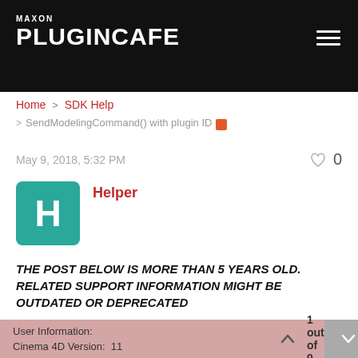MAXON PLUGINCAFE
Home > SDK Help > SendModelingCommand() with plugin ID
May 9, 2018, 5:32 PM
Helper
THE POST BELOW IS MORE THAN 5 YEARS OLD. RELATED SUPPORT INFORMATION MIGHT BE OUTDATED OR DEPRECATED
On 14/06/2009 at 16:41, xxxxxxxx wrote:
User Information:
Cinema 4D Version:  11
1 out of 9